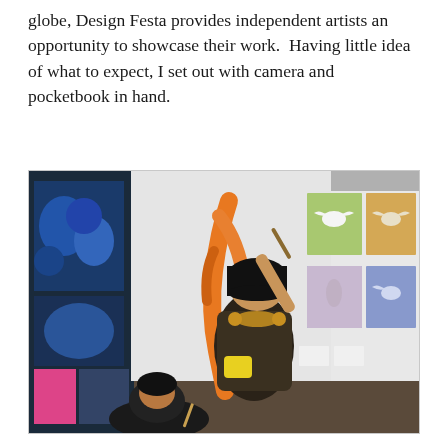globe, Design Festa provides independent artists an opportunity to showcase their work.  Having little idea of what to expect, I set out with camera and pocketbook in hand.
[Figure (photo): A woman with a black bob haircut and gold headphones around her neck, wearing a dark floral jacket, paints an orange figure on a white wall. The wall displays colorful artwork including anime-style paintings on the left side and pastel-colored canvases with bird silhouettes on the right. Another person is visible in the lower foreground.]